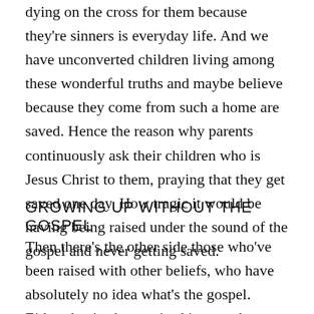dying on the cross for them because they're sinners is everyday life. And we have unconverted children living among these wonderful truths and maybe believe because they come from such a home are saved. Hence the reason why parents continuously ask their children who is Jesus Christ to them, praying that they get saved one day. How tragic it would be having being raised under the sound of the gospel and never getting saved.
GROWING UP WITHOUT THE GOSPEL
Then there's the other side those who've been raised with other beliefs, who have absolutely no idea what's the gospel. Either they've been raised in a works based religion or worse they've been brought up in a